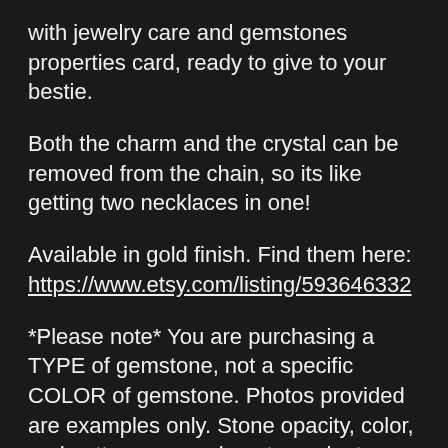with jewelry care and gemstones properties card, ready to give to your bestie.
Both the charm and the crystal can be removed from the chain, so its like getting two necklaces in one!
Available in gold finish. Find them here: https://www.etsy.com/listing/593646332
*Please note* You are purchasing a TYPE of gemstone, not a specific COLOR of gemstone. Photos provided are examples only. Stone opacity, color, and patterns are unique to each stone, and its mined location. Individual gemstone selection is at our sole discretion. We do not offer returns or exchanges based on color or pattern variations. Information regarding the properties of gemstones is for entertainment purposes only. Not intended to treat or diagnose medical conditions only.